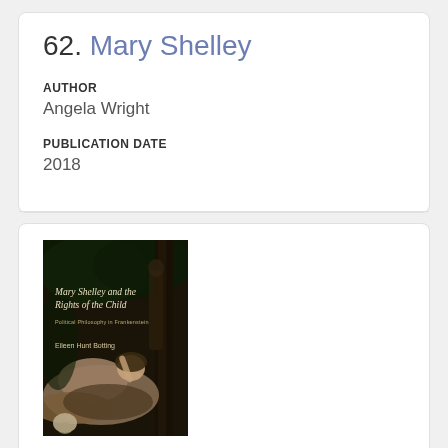62. Mary Shelley
AUTHOR
Angela Wright
PUBLICATION DATE
2018
[Figure (photo): Book cover of 'Mary Shelley and the Rights of the Child: Political Philosophy in Frankenstein' by Eileen Hunt Botting. Dark Gothic artwork showing a reclining figure with a skull, set against a dark forest background.]